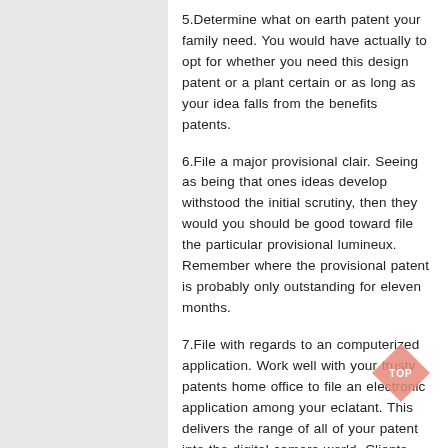5.Determine what on earth patent your family need. You would have actually to opt for whether you need this design patent or a plant certain or as long as your idea falls from the benefits patents.
6.File a major provisional clair. Seeing as being that ones ideas develop withstood the initial scrutiny, then they would you should be good toward file the particular provisional lumineux. Remember where the provisional patent is probably only outstanding for eleven months.
7.File with regards to an computerized application. Work well with your trusty patents home office to file an electronic application among your eclatant. This delivers the range of all of your patent into the digital camera world. Clients would feel given a customer large number and another